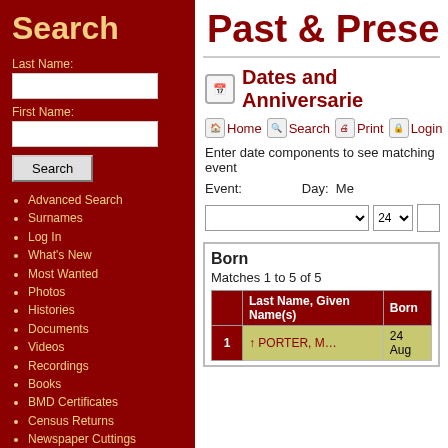Search
Last Name:
First Name:
Past & Presen
Dates and Anniversaries
Advanced Search
Surnames
Log In
What's New
Most Wanted
Photos
Histories
Documents
Videos
Recordings
Books
BMD Certificates
Census Returns
Newspaper Cuttings
Albums
All Media
Cemeteries
Headstones
Places
Notes
Home  Search  Print  Login
Enter date components to see matching event
Event:  Day:  Mo
Born
Matches 1 to 5 of 5
|  | Last Name, Given Name(s) | Born |
| --- | --- | --- |
| 1 | PORTER, M… | 24 Aug |